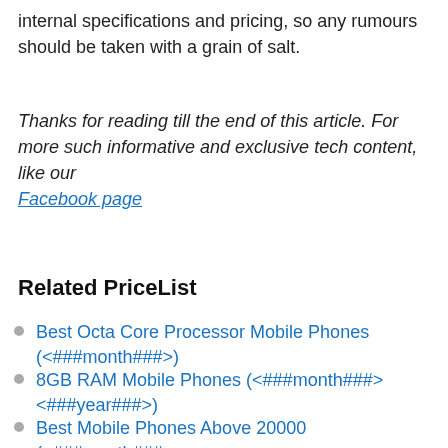internal specifications and pricing, so any rumours should be taken with a grain of salt.
Thanks for reading till the end of this article. For more such informative and exclusive tech content, like our Facebook page
Related PriceList
Best Octa Core Processor Mobile Phones (<###month###>)
8GB RAM Mobile Phones (<###month###> <###year###>)
Best Mobile Phones Above 20000 (<###month###>)